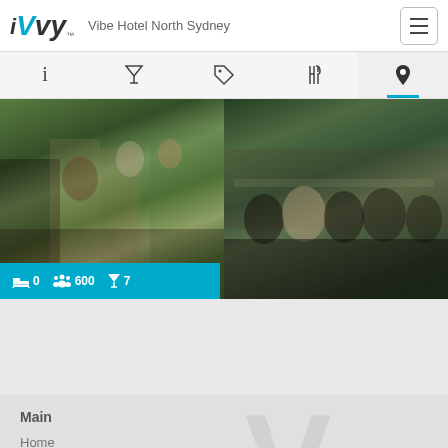iVvy™ Vibe Hotel North Sydney
[Figure (screenshot): Navigation icon bar with info, cocktail, tag, utensils, and location pin icons. Location pin icon is active with blue underline.]
[Figure (photo): Two side-by-side outdoor venue/event photos showing crowds of people socializing at an outdoor garden party venue. Info bar overlay shows: bed icon 0, people icon 600, cocktail icon 7.]
Main
Home
About